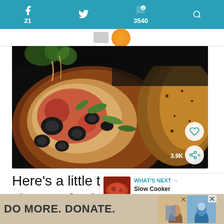f 21   [twitter icon]   p 3540
[Figure (photo): Close-up photo of pizza slices with black olives, green peppers, red sauce, melted cheese, and seasoned crust]
Here's a little trick to reheat leftover pizza perfectly. Put a couple of slices in
WHAT'S NEXT → Slow Cooker Beef Burritos
DO MORE. DONATE.